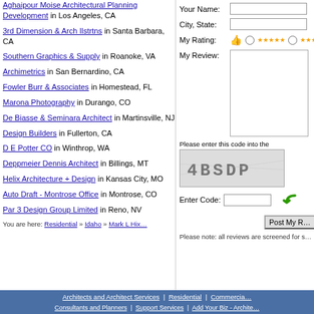Aghaipour Moise Architectural Planning Development in Los Angeles, CA
3rd Dimension & Arch Ilstrtns in Santa Barbara, CA
Southern Graphics & Supply in Roanoke, VA
Archimetrics in San Bernardino, CA
Fowler Burr & Associates in Homestead, FL
Marona Photography in Durango, CO
De Biasse & Seminara Architect in Martinsville, NJ
Design Builders in Fullerton, CA
D E Potter CO in Winthrop, WA
Deppmeier Dennis Architect in Billings, MT
Helix Architecture + Design in Kansas City, MO
Auto Draft - Montrose Office in Montrose, CO
Par 3 Design Group Limited in Reno, NV
Your Name:
City, State:
My Rating:
My Review:
Please enter this code into the box below:
Enter Code:
Post My Review
Please note: all reviews are screened for s...
You are here: Residential » Idaho » Mark L Hix...
Architects and Architect Services | Residential | Commercial | Consultants and Planners | Support Services | Add Your Biz - Architect